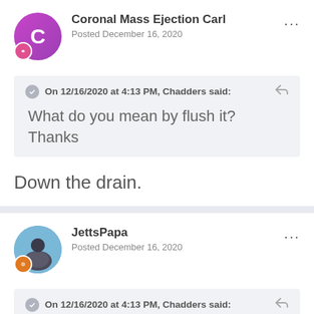Coronal Mass Ejection Carl
Posted December 16, 2020
On 12/16/2020 at 4:13 PM, Chadders said:
What do you mean by flush it? Thanks
Down the drain.
JettsPapa
Posted December 16, 2020
On 12/16/2020 at 4:13 PM, Chadders said: